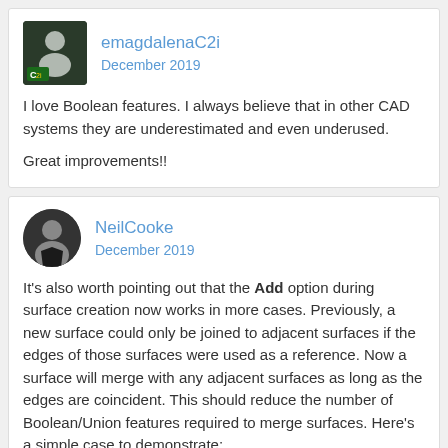emagdalenaC2i
December 2019
I love Boolean features. I always believe that in other CAD systems they are underestimated and even underused.

Great improvements!!
NeilCooke
December 2019
It's also worth pointing out that the Add option during surface creation now works in more cases. Previously, a new surface could only be joined to adjacent surfaces if the edges of those surfaces were used as a reference. Now a surface will merge with any adjacent surfaces as long as the edges are coincident. This should reduce the number of Boolean/Union features required to merge surfaces. Here's a simple case to demonstrate:
[Figure (screenshot): Partial screenshot of a CAD interface showing Features (7), Extrude 2 label in orange, a green checkmark, a red X, and partial text 'Surfaces do not share an edge and cannot be added...']